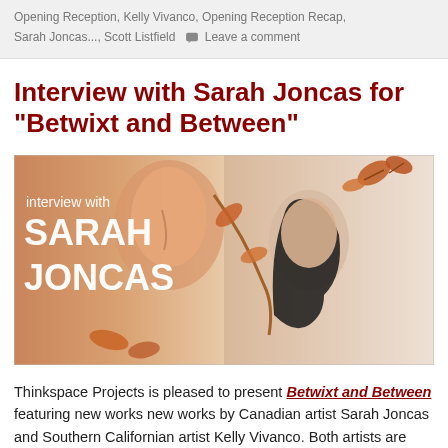Opening Reception, Kelly Vivanco, Opening Reception Recap, Sarah Joncas..., Scott Listfield  Leave a comment
Interview with Sarah Joncas for “Betwixt and Between”
[Figure (illustration): Illustrated promotional image for an interview with Sarah Joncas. Text on left reads 'interview with SARAH JONCAS' in white over a painting of a woman's face with autumn leaves.]
Thinkspace Projects is pleased to present Betwixt and Between featuring new works new works by Canadian artist Sarah Joncas and Southern Californian artist Kelly Vivanco. Both artists are known for their narrative-based works that embrace the